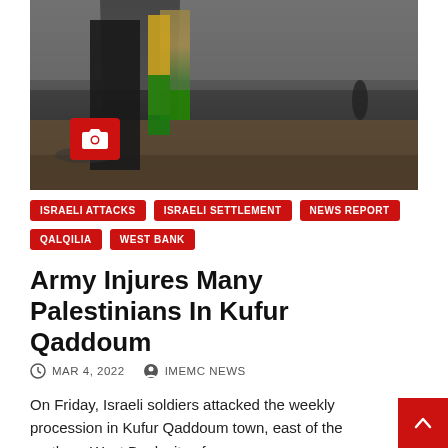[Figure (photo): Dark outdoor photograph showing figures in a street scene with smoke or haze in the background. A red camera icon badge is visible in the lower-left of the image.]
ISRAELI ATTACKS
ISRAELI SETTLEMENT
NEWS REPORT
QALQILIA
WEST BANK
Army Injures Many Palestinians In Kufur Qaddoum
MAR 4, 2022   IMEMC NEWS
On Friday, Israeli soldiers attacked the weekly procession in Kufur Qaddoum town, east of the northern West Bank city of